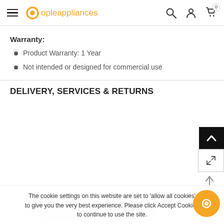opleappliances
Warranty:
Product Warranty: 1 Year
Not intended or designed for commercial use
DELIVERY, SERVICES & RETURNS
The cookie settings on this website are set to 'allow all cookies' to give you the very best experience. Please click Accept Cookies to continue to use the site.
PRIVACY POLICY   ACCEPT ✓
Customer Reviews
SOLD OUT